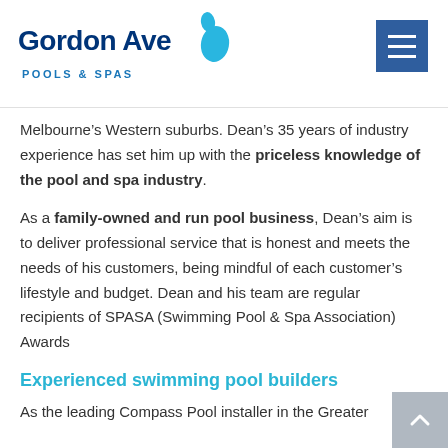Gordon Ave Pools & Spas
Melbourne’s Western suburbs. Dean’s 35 years of industry experience has set him up with the priceless knowledge of the pool and spa industry.
As a family-owned and run pool business, Dean’s aim is to deliver professional service that is honest and meets the needs of his customers, being mindful of each customer’s lifestyle and budget. Dean and his team are regular recipients of SPASA (Swimming Pool & Spa Association) Awards
Experienced swimming pool builders
As the leading Compass Pool installer in the Greater